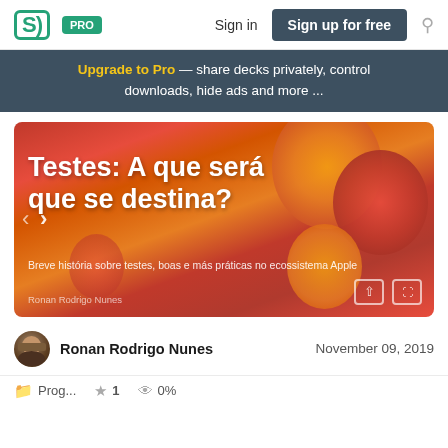SD PRO  Sign in  Sign up for free
Upgrade to Pro — share decks privately, control downloads, hide ads and more ...
[Figure (screenshot): Presentation slide with orange/red pepper background. Title reads: Testes: A que será que se destina? Subtitle: Breve história sobre testes, boas e más práticas no ecossistema Apple. Author: Ronan Rodrigo Nunes.]
Ronan Rodrigo Nunes   November 09, 2019
Programming